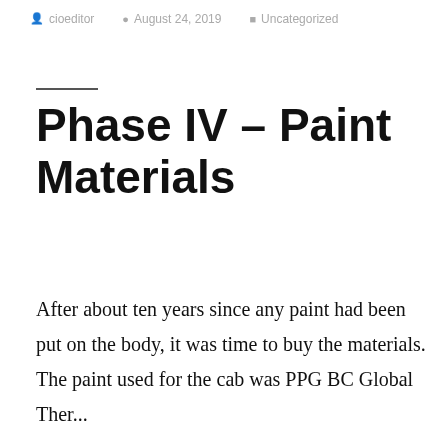cioeditor   August 24, 2019   Uncategorized
Phase IV – Paint Materials
After about ten years since any paint had been put on the body, it was time to buy the materials. The paint used for the cab was PPG BC Global Ther...